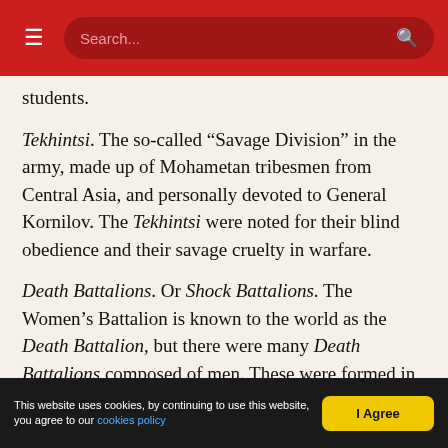Search...
students.
Tekhintsi. The so-called “Savage Division” in the army, made up of Mohametan tribesmen from Central Asia, and personally devoted to General Kornilov. The Tekhintsi were noted for their blind obedience and their savage cruelty in warfare.
Death Battalions. Or Shock Battalions. The Women’s Battalion is known to the world as the Death Battalion, but there were many Death Battalions composed of men. These were formed in the summer of 1917 by Kerensky, for the purpose of strengthening the discipline and combative fire
This website uses cookies, by continuing to use this website, you agree to our cookies policy  I Agree